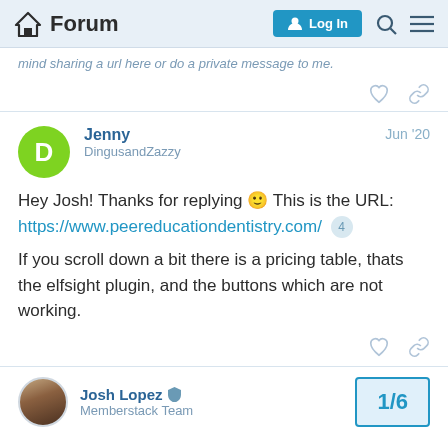Forum  Log In
mind sharing a url here or do a private message to me.
Jenny
DingusandZazzy
Jun '20
Hey Josh! Thanks for replying 🙂 This is the URL:
https://www.peereducationdentistry.com/  4

If you scroll down a bit there is a pricing table, thats the elfsight plugin, and the buttons which are not working.
Josh Lopez
Memberstack Team
1/6